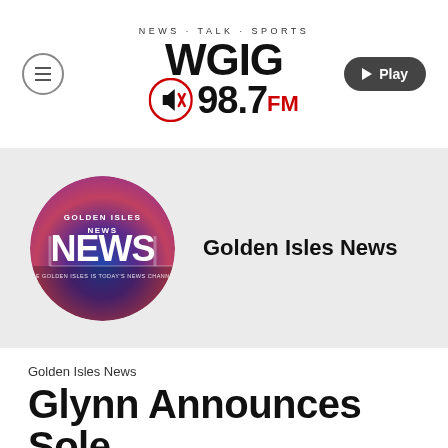WGIG 98.7FM — NEWS · TALK · SPORTS
[Figure (logo): WGIG 98.7FM radio station logo with NEWS · TALK · SPORTS tagline, circular icon with signal/speaker graphic]
[Figure (logo): Golden Isles News circular logo with bridge photo background, blue/purple/pink gradient, showing 'GOLDEN ISLES NEWS' text]
Golden Isles News
Golden Isles News
Glynn Announces Sole